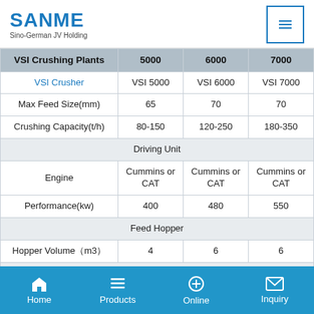SANME Sino-German JV Holding
| VSI Crushing Plants | 5000 | 6000 | 7000 |
| --- | --- | --- | --- |
| VSI Crusher | VSI 5000 | VSI 6000 | VSI 7000 |
| Max Feed Size(mm) | 65 | 70 | 70 |
| Crushing Capacity(t/h) | 80-150 | 120-250 | 180-350 |
| Driving Unit |  |  |  |
| Engine | Cummins or CAT | Cummins or CAT | Cummins or CAT |
| Performance(kw) | 400 | 480 | 550 |
| Feed Hopper |  |  |  |
| Hopper Volume（m3） | 4 | 6 | 6 |
| Belt Feeder |  |  |  |
| Drive | hydraulic | hydraulic | hydraulic |
Home | Products | Online | Inquiry